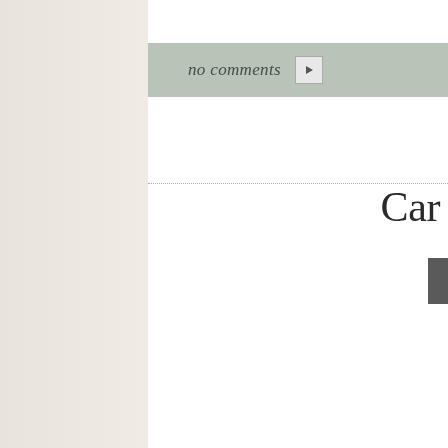no comments ▶
Car
Loved this elegant yet simple ceremony at D'jons Melbourne Beach. smiling! We are so honored to have been a part of their special day a
[Figure (photo): Close-up photo of a bride holding white flowers, soft sepia/neutral tones]